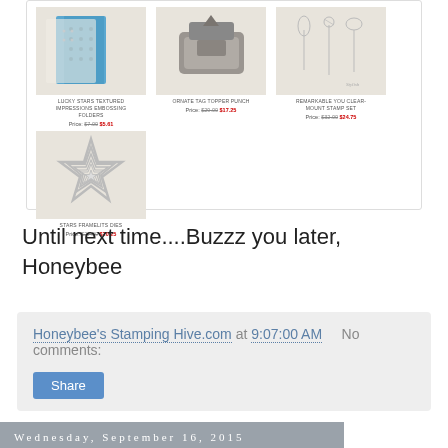[Figure (screenshot): Product grid showing 4 craft products: Lucky Stars Textured Impressions Embossing Folders (Price: $7.00 $5.61), Ornate Tag Topper Punch (Price: $29.00 $17.25), Remarkable You Clear-Mount Stamp Set (Price: $32.00 $24.75), Stars Framelits Dies (Price: $27.00 $20.25)]
Until next time....Buzzz you later, Honeybee
Honeybee's Stamping Hive.com at 9:07:00 AM    No comments:
Share
Wednesday, September 16, 2015